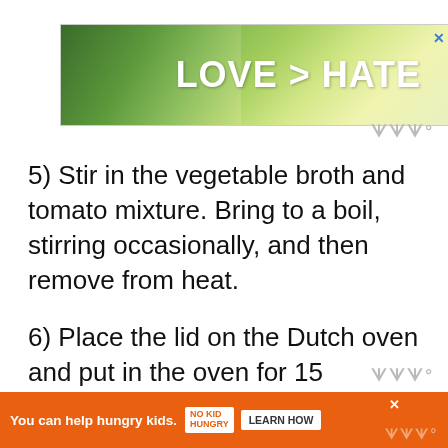[Figure (other): Advertisement banner with hands forming a heart shape against green background, text reads LOVE > HATE with a close button (X) in top right corner]
5) Stir in the vegetable broth and tomato mixture. Bring to a boil, stirring occasionally, and then remove from heat.
6) Place the lid on the Dutch oven and put in the oven for 15 minutes. Remove from oven to
[Figure (other): Bottom advertisement banner in orange: You can help hungry kids. NO KID HUNGRY logo and LEARN HOW button]